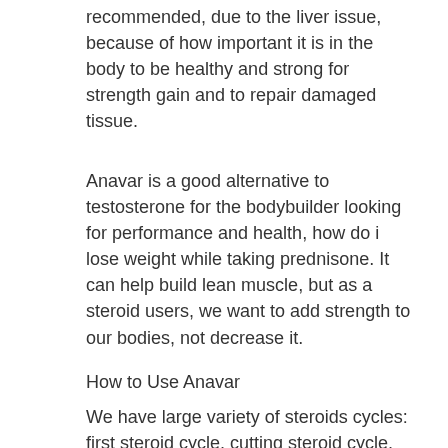recommended, due to the liver issue, because of how important it is in the body to be healthy and strong for strength gain and to repair damaged tissue.
Anavar is a good alternative to testosterone for the bodybuilder looking for performance and health, how do i lose weight while taking prednisone. It can help build lean muscle, but as a steroid users, we want to add strength to our bodies, not decrease it.
How to Use Anavar
We have large variety of steroids cycles: first steroid cycle, cutting steroid cycle, safe steroid cycle so you can choose fromthe safe to dangerous and from low to high dose we offer you the different types of cycle such